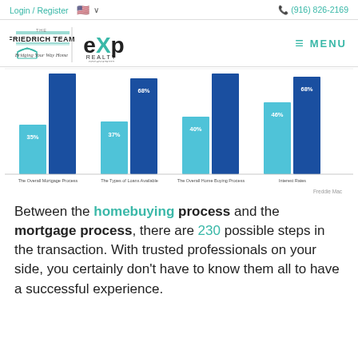Login / Register  🇺🇸 ∨    📞 (916) 826-2169
[Figure (logo): The Friedrich Team eXp Realty logo with tagline 'Bridging Your Way Home' and MENU hamburger icon]
[Figure (grouped-bar-chart): ]
Freddie Mac
Between the homebuying process and the mortgage process, there are 230 possible steps in the transaction. With trusted professionals on your side, you certainly don't have to know them all to have a successful experience.